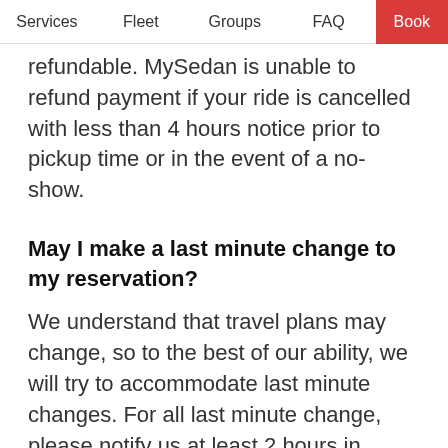Services   Fleet   Groups   FAQ   Book
refundable. MySedan is unable to refund payment if your ride is cancelled with less than 4 hours notice prior to pickup time or in the event of a no-show.
May I make a last minute change to my reservation?
We understand that travel plans may change, so to the best of our ability, we will try to accommodate last minute changes. For all last minute change, please notify us at least 2 hours in advance of your scheduled pickup time. Please contact us directly by calling (212) 434-0400. Our